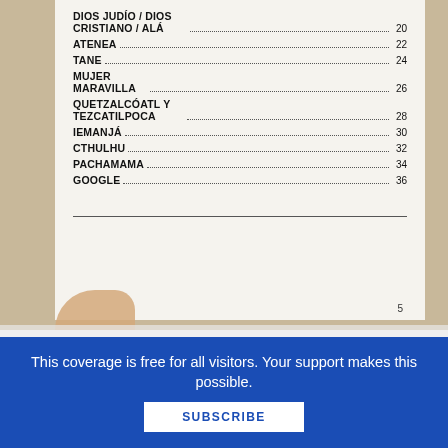[Figure (photo): Photograph of a book page showing a table of contents, held open by a hand, against an orange/yellow background.]
DIOS JUDÍO / DIOS CRISTIANO / ALÁ ............... 20
ATENEA ............... 22
TANE ............... 24
MUJER MARAVILLA ............... 26
QUETZALCÓATL Y TEZCATILPOCA ............... 28
IEMANJÁ ............... 30
CTHULHU ............... 32
PACHAMAMA ............... 34
GOOGLE ............... 36
5
This coverage is free for all visitors. Your support makes this possible.
SUBSCRIBE